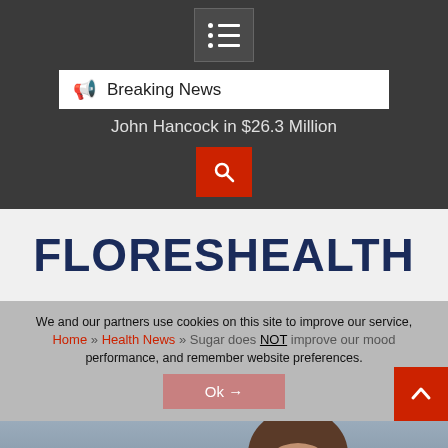[Figure (screenshot): Dark navigation header with hamburger menu icon]
Breaking News
John Hancock in $26.3 Million
[Figure (screenshot): Red search button with magnifying glass icon]
FLORESHEALTH
We and our partners use cookies on this site to improve our service, To our Health News Sugar does NOT improve our mood performance, and remember website preferences.
Home » Health News » Sugar does NOT improve our mood
Ok →
[Figure (photo): Partial photo of a person with brown hair, mostly obscured]